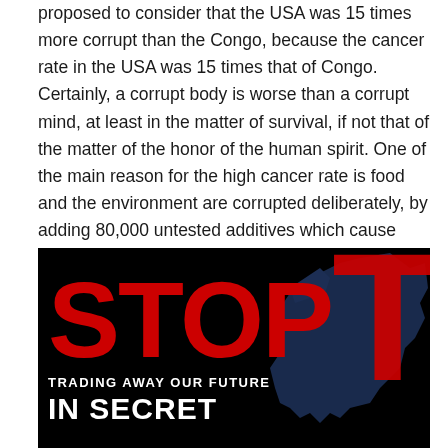proposed to consider that the USA was 15 times more corrupt than the Congo, because the cancer rate in the USA was 15 times that of Congo. Certainly, a corrupt body is worse than a corrupt mind, at least in the matter of survival, if not that of the matter of the honor of the human spirit. One of the main reason for the high cancer rate is food and the environment are corrupted deliberately, by adding 80,000 untested additives which cause cancer (and probably autism).
[Figure (illustration): Anti-TTIP campaign image with black background. Large red bold text reading 'STOP TIP' with 'TIP' in very large letters. Blue map silhouette of Europe on the right. White text below reading 'TRADING AWAY OUR FUTURE' and 'IN SECRET' in large bold white letters.]